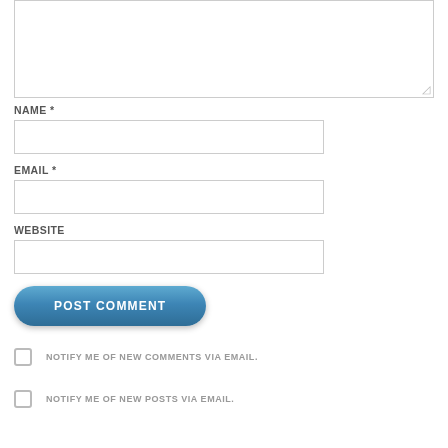[Figure (screenshot): Comment form textarea (partially visible at top), showing a resizable text area with a resize handle in the bottom-right corner.]
NAME *
[Figure (screenshot): Name input text field (empty, white background with gray border).]
EMAIL *
[Figure (screenshot): Email input text field (empty, white background with gray border).]
WEBSITE
[Figure (screenshot): Website input text field (empty, white background with gray border).]
[Figure (screenshot): Blue rounded 'POST COMMENT' button.]
NOTIFY ME OF NEW COMMENTS VIA EMAIL.
NOTIFY ME OF NEW POSTS VIA EMAIL.